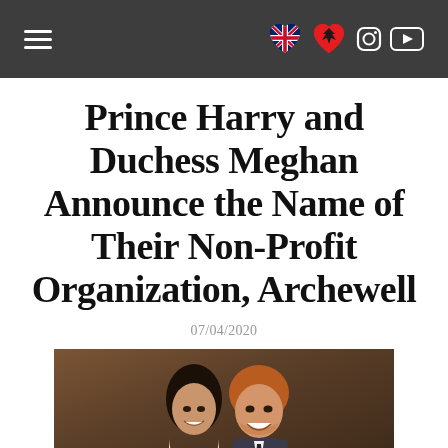Navigation header with hamburger menu and icons
Prince Harry and Duchess Meghan Announce the Name of Their Non-Profit Organization, Archewell
07/04/2020
[Figure (photo): Photo of Prince Harry and Duchess Meghan smiling together indoors]